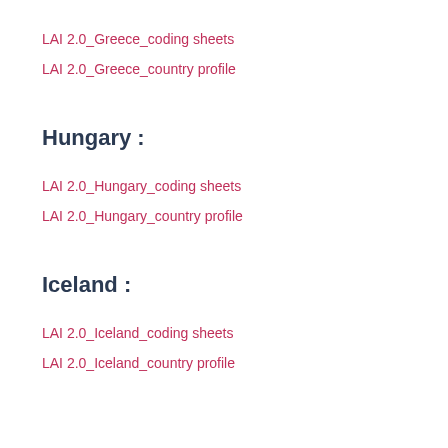LAI 2.0_Greece_coding sheets
LAI 2.0_Greece_country profile
Hungary :
LAI 2.0_Hungary_coding sheets
LAI 2.0_Hungary_country profile
Iceland :
LAI 2.0_Iceland_coding sheets
LAI 2.0_Iceland_country profile